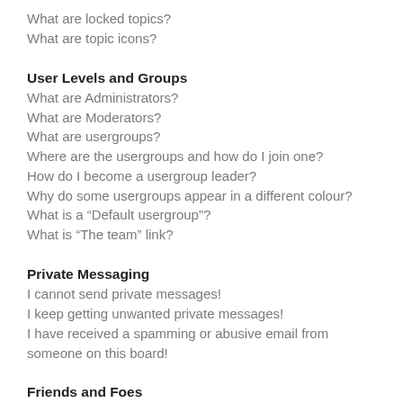What are locked topics?
What are topic icons?
User Levels and Groups
What are Administrators?
What are Moderators?
What are usergroups?
Where are the usergroups and how do I join one?
How do I become a usergroup leader?
Why do some usergroups appear in a different colour?
What is a “Default usergroup”?
What is “The team” link?
Private Messaging
I cannot send private messages!
I keep getting unwanted private messages!
I have received a spamming or abusive email from someone on this board!
Friends and Foes
What are my Friends and Foes lists?
How can I add / remove users to my Friends or Foes list?